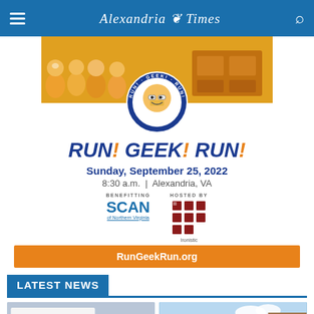Alexandria Times
[Figure (illustration): Run! Geek! Run! event advertisement banner showing mascot figures/gnomes and circular badge logo with 'Sept. 25, 2022'. Text: RUN! GEEK! RUN!, Sunday, September 25, 2022, 8:30 a.m. | Alexandria, VA. Benefitting SCAN of Northern Virginia. Hosted by (grid logo). RunGeekRun.org orange button.]
LATEST NEWS
[Figure (photo): Photo of sign reading 'ALL students deserve' held at a rally or protest]
[Figure (photo): Photo of a brick building exterior with blue sky and green trees]